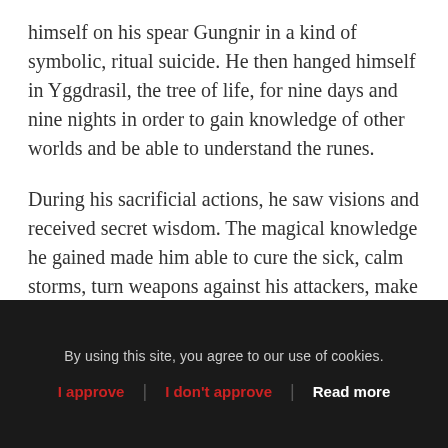himself on his spear Gungnir in a kind of symbolic, ritual suicide. He then hanged himself in Yggdrasil, the tree of life, for nine days and nine nights in order to gain knowledge of other worlds and be able to understand the runes.
During his sacrificial actions, he saw visions and received secret wisdom. The magical knowledge he gained made him able to cure the sick, calm storms, turn weapons against his attackers, make women fall in love and render dangerous troll women harmless – often just with a look.
By using this site, you agree to our use of cookies. | I approve | I don't approve | Read more